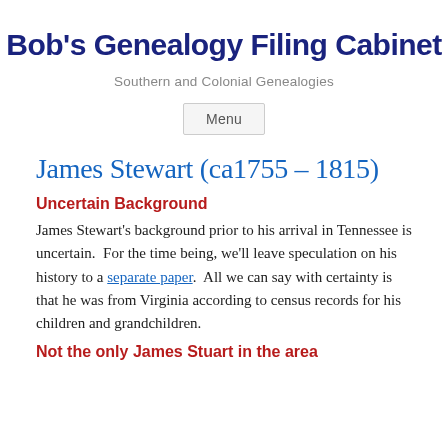Bob's Genealogy Filing Cabinet
Southern and Colonial Genealogies
Menu
James Stewart (ca1755 – 1815)
Uncertain Background
James Stewart's background prior to his arrival in Tennessee is uncertain.  For the time being, we'll leave speculation on his history to a separate paper.  All we can say with certainty is that he was from Virginia according to census records for his children and grandchildren.
Not the only James Stuart in the area